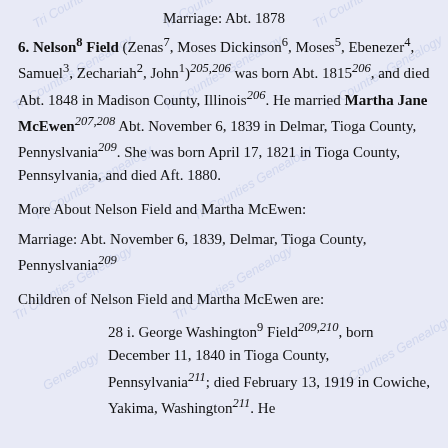Marriage: Abt. 1878
6. Nelson8 Field (Zenas7, Moses Dickinson6, Moses5, Ebenezer4, Samuel3, Zechariah2, John1)205,206 was born Abt. 1815206, and died Abt. 1848 in Madison County, Illinois206. He married Martha Jane McEwen207,208 Abt. November 6, 1839 in Delmar, Tioga County, Pennyslvania209. She was born April 17, 1821 in Tioga County, Pennsylvania, and died Aft. 1880.
More About Nelson Field and Martha McEwen:
Marriage: Abt. November 6, 1839, Delmar, Tioga County, Pennyslvania209
Children of Nelson Field and Martha McEwen are:
28 i. George Washington9 Field209,210, born December 11, 1840 in Tioga County, Pennsylvania211; died February 13, 1919 in Cowiche, Yakima, Washington211. He